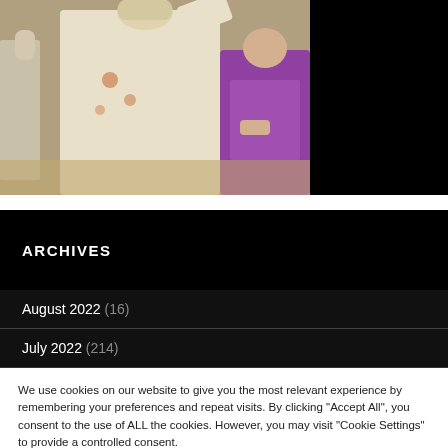[Figure (photo): Clergy members in white and purple vestments, one appears to be placing something on another's head, outdoor setting]
ARCHIVES
August 2022 (16)
July 2022 (214)
We use cookies on our website to give you the most relevant experience by remembering your preferences and repeat visits. By clicking "Accept All", you consent to the use of ALL the cookies. However, you may visit "Cookie Settings" to provide a controlled consent.